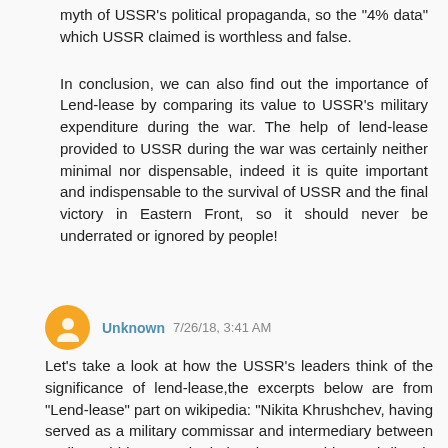myth of USSR's political propaganda, so the "4% data" which USSR claimed is worthless and false.
In conclusion, we can also find out the importance of Lend-lease by comparing its value to USSR's military expenditure during the war. The help of lend-lease provided to USSR during the war was certainly neither minimal nor dispensable, indeed it is quite important and indispensable to the survival of USSR and the final victory in Eastern Front, so it should never be underrated or ignored by people!
Unknown 7/26/18, 3:41 AM
Let's take a look at how the USSR's leaders think of the significance of lend-lease,the excerpts below are from "Lend-lease" part on wikipedia: "Nikita Khrushchev, having served as a military commissar and intermediary between Stalin and his generals during the war, addressed directly the significance of Lend-lease...